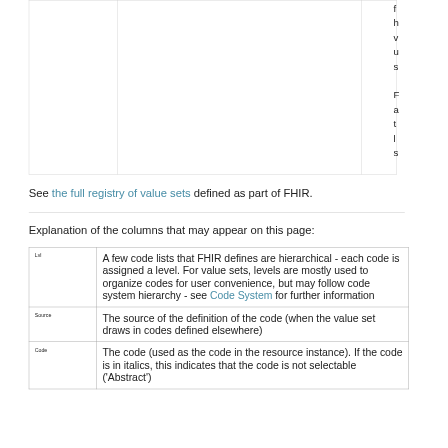|  |  |  |
See the full registry of value sets defined as part of FHIR.
Explanation of the columns that may appear on this page:
| Lvl | A few code lists that FHIR defines are hierarchical - each code is assigned a level. For value sets, levels are mostly used to organize codes for user convenience, but may follow code system hierarchy - see Code System for further information |
| Source | The source of the definition of the code (when the value set draws in codes defined elsewhere) |
| Code | The code (used as the code in the resource instance). If the code is in italics, this indicates that the code is not selectable ('Abstract') |